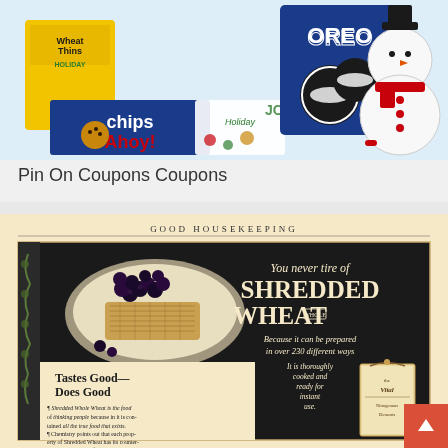[Figure (photo): Holiday snack collage featuring Wheat Thins Holiday, Oreo cookies, Chips Ahoy holiday edition, and a snowman decoration on a light blue background]
Pin On Coupons Coupons
[Figure (photo): Vintage Good Housekeeping advertisement for Shredded Wheat cereal. Black background with illustration of shredded wheat biscuits topped with blackberries on a plate. Text reads: You never tire of SHREDDED WHOLE WHEAT - Because it can be prepared in over 230 different ways - It is thoroughly cooked and ready for instant use. Bottom left section with cream background: Tastes Good— Does Good. Body text about Shredded Whole Wheat being food of thinking people. Product package illustration on right.]